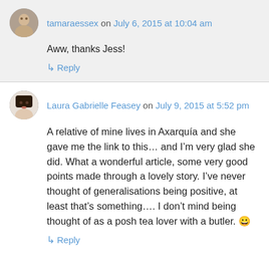tamaraessex on July 6, 2015 at 10:04 am
Aww, thanks Jess!
↳ Reply
Laura Gabrielle Feasey on July 9, 2015 at 5:52 pm
A relative of mine lives in Axarquía and she gave me the link to this… and I'm very glad she did. What a wonderful article, some very good points made through a lovely story. I've never thought of generalisations being positive, at least that's something…. I don't mind being thought of as a posh tea lover with a butler. 😀
↳ Reply